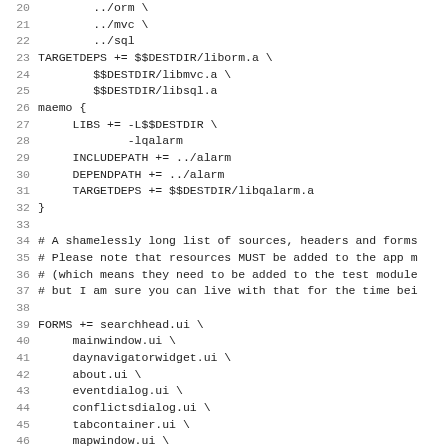Code listing lines 20-51 of a Qt project file (.pro), showing DEPENDPATH, TARGETDEPS, maemo block with LIBS/INCLUDEPATH/DEPENDPATH/TARGETDEPS, comments, FORMS list, and start of HEADERS.